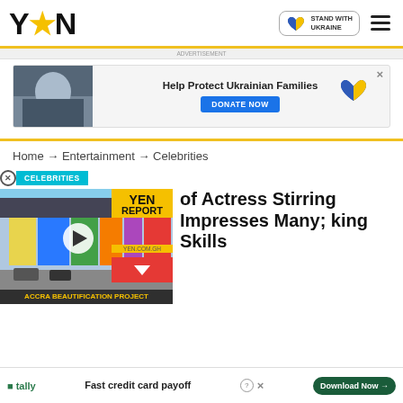YEN (logo) — STAND WITH UKRAINE badge — hamburger menu
[Figure (screenshot): YEN news website screenshot showing Ukraine donation ad, breadcrumb navigation, Celebrities category tag, video thumbnail of Accra Beautification Project with YEN Report badge, article headline about Actress Stirring and cooking skills, and a Tally bottom advertisement.]
Help Protect Ukrainian Families — DONATE NOW
Home → Entertainment → Celebrities
CELEBRITIES
ACCRA BEAUTIFICATION PROJECT
YEN REPORT
of Actress Stirring Impresses Many; king Skills
Fast credit card payoff
Download Now →